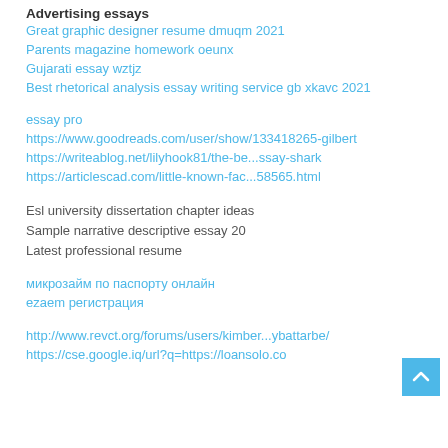Advertising essays
Great graphic designer resume dmuqm 2021
Parents magazine homework oeunx
Gujarati essay wztjz
Best rhetorical analysis essay writing service gb xkavc 2021
essay pro
https://www.goodreads.com/user/show/133418265-gilbert
https://writeablog.net/lilyhook81/the-be...ssay-shark
https://articlescad.com/little-known-fac...58565.html
Esl university dissertation chapter ideas
Sample narrative descriptive essay 20
Latest professional resume
микрозайм по паспорту онлайн
ezaem регистрация
http://www.revct.org/forums/users/kimber...ybattarbe/
https://cse.google.iq/url?q=https://loansolo.co